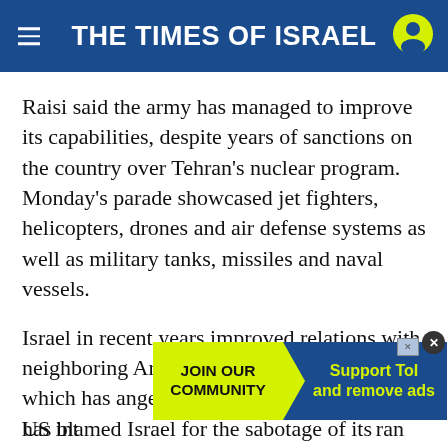THE TIMES OF ISRAEL
Raisi said the army has managed to improve its capabilities, despite years of sanctions on the country over Tehran's nuclear program. Monday's parade showcased jet fighters, helicopters, drones and air defense systems as well as military tanks, missiles and naval vessels.
Israel in recent years improved relations with neighboring Arab nations in the Persian Gulf, which has angered Iran's leaders. Tehran also has blamed Israel for the sabotage of its nuclear sites and the assassinations of its nuclear scientists.
[Figure (screenshot): Advertisement banner: JOIN OUR COMMUNITY on yellow-green background with arrow, Support ToI and remove ads on blue background]
US int... ran